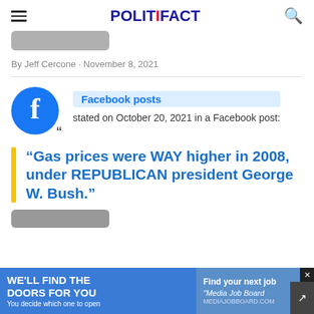POLITIFACT
[Figure (illustration): Partial view of a gray rounded rectangle image stub at top]
By Jeff Cercone · November 8, 2021
[Figure (logo): Facebook logo — blue circle with white 'f']
Facebook posts stated on October 20, 2021 in a Facebook post:
"Gas prices were WAY higher in 2008, under REPUBLICAN president George W. Bush."
[Figure (illustration): Partial bottom image stub]
[Figure (other): Advertisement banner: WE'LL FIND THE DOORS FOR YOU / You decide which one to open / Find your next job / Media Job Board]